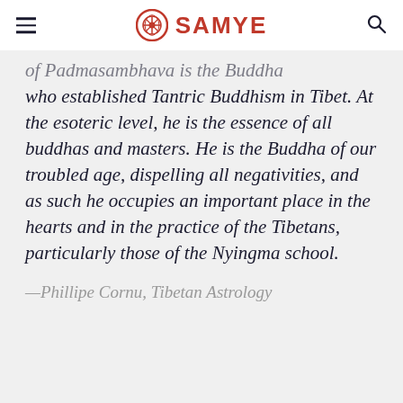SAMYE
of Padmasambhava is the Buddha who established Tantric Buddhism in Tibet. At the esoteric level, he is the essence of all buddhas and masters. He is the Buddha of our troubled age, dispelling all negativities, and as such he occupies an important place in the hearts and in the practice of the Tibetans, particularly those of the Nyingma school.
—Phillipe Cornu, Tibetan Astrology